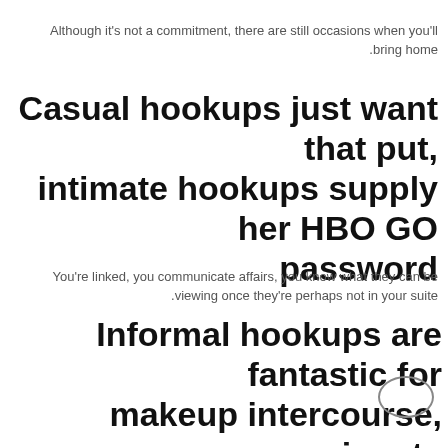Although it's not a commitment, there are still occasions when you'll bring home.
Casual hookups just want that put, intimate hookups supply her HBO GO password
You're linked, you communicate affairs, you know what they can be viewing once they're perhaps not in your suite.
Informal hookups are fantastic for makeup intercourse, passionate hookups have experienced you without makeup products